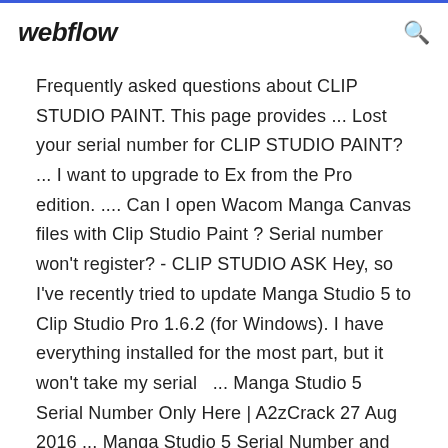webflow
Frequently asked questions about CLIP STUDIO PAINT. This page provides ... Lost your serial number for CLIP STUDIO PAINT? ... I want to upgrade to Ex from the Pro edition. .... Can I open Wacom Manga Canvas files with Clip Studio Paint ? Serial number won't register? - CLIP STUDIO ASK Hey, so I've recently tried to update Manga Studio 5 to Clip Studio Pro 1.6.2 (for Windows). I have everything installed for the most part, but it won't take my serial  ... Manga Studio 5 Serial Number Only Here | A2zCrack 27 Aug 2016 ... Manga Studio 5 Serial Number and Keygen is a complete application Reg. Finally, you are going to download Manga Studio 5 keygen.